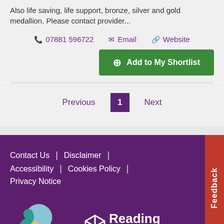Also life saving, life support, bronze, silver and gold medallion. Please contact provider...
📞 07881 596722   ✉ Email   🔗 Website
⊕ Add to My Shortlist
Previous  1  Next
Contact Us | Disclaimer | Accessibility | Cookies Policy | Privacy Notice
[Figure (logo): Brighter Futures logo — teal and blue heart shapes with yellow diamond]
[Figure (logo): Reading Borough Council logo — white hexagonal snowflake icon with Reading Borough Council text in white]